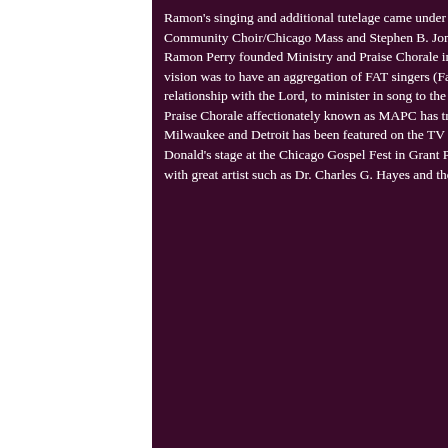Ramon's singing and additional tutelage came under the late James Chambers and the Ecclesiastes Community Choir/Chicago Mass and Stephen B. Jones and Exortations of Praise. Ramon Perry founded Ministry and Praise Chorale in August of 1997 with the help of a few friends. The vision was to have an aggregation of FAT singers (Faithful, Anointed and Talented) that have a relationship with the Lord, to minister in song to the saved and unsaved. Ramon Perry and Ministry & Praise Chorale affectionately known as MAPC has traveled to Saginaw, Nashville, Indianapolis, Milwaukee and Detroit has been featured on the TV program Singsation, and was featured on the Mc Donald's stage at the Chicago Gospel Fest in Grant Park. Ramon Perry and MAPC have shared the stage with great artist such as Dr. Charles G. Hayes and the Warriors
[Figure (photo): Concert/stage performance photo with purple stage lighting, showing silhouettes of performers and audience with bright stage lights visible]